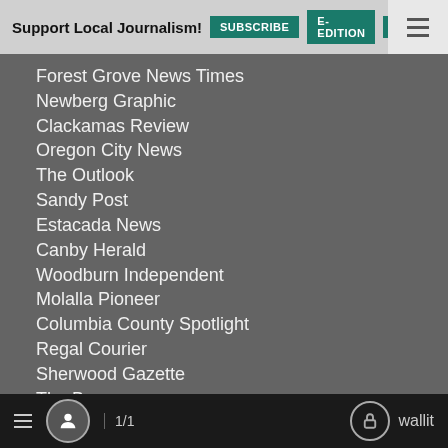Support Local Journalism! | SUBSCRIBE | E-EDITION | NEWSLETTER
Forest Grove News Times
Newberg Graphic
Clackamas Review
Oregon City News
The Outlook
Sandy Post
Estacada News
Canby Herald
Woodburn Independent
Molalla Pioneer
Columbia County Spotlight
Regal Courier
Sherwood Gazette
The Bee
Southwest Community Connection
Central Oregon
≡  👤  1/1    🔓 wallit